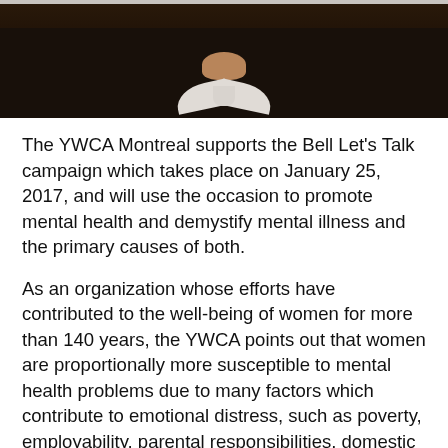[Figure (photo): Bottom portion of a person wearing a dark/black knit sweater with a white collar shirt underneath, photographed against a light background.]
The YWCA Montreal supports the Bell Let's Talk campaign which takes place on January 25, 2017, and will use the occasion to promote mental health and demystify mental illness and the primary causes of both.
As an organization whose efforts have contributed to the well-being of women for more than 140 years, the YWCA points out that women are proportionally more susceptible to mental health problems due to many factors which contribute to emotional distress, such as poverty, employability, parental responsibilities, domestic or psychological violence, lack of a social network, genetic factors, immigration status or low levels of education.
The factors that contribute to mental health are many